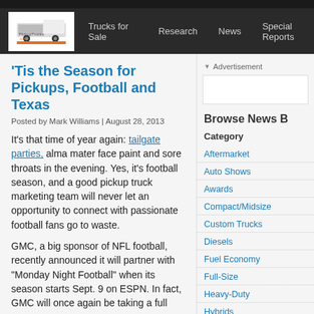PickupTrucks.com | Trucks for Sale | Research | News | Special Reports
'Tis the Season for Pickups, Football and Texas
Posted by Mark Williams | August 28, 2013
It's that time of year again: tailgate parties, alma mater face paint and sore throats in the evening. Yes, it's football season, and a good pickup truck marketing team will never let an opportunity to connect with passionate football fans go to waste.
GMC, a big sponsor of NFL football, recently announced it will partner with "Monday Night Football" when its season starts Sept. 9 on ESPN. In fact, GMC will once again be taking a full
Advertisement
Browse News B
Category
Aftermarket
Auto Shows
Awards
Compact/Midsize
Custom Trucks
Diesels
Fuel Economy
Full-Size
Heavy-Duty
Hybrids
Interiors
Light-Duty